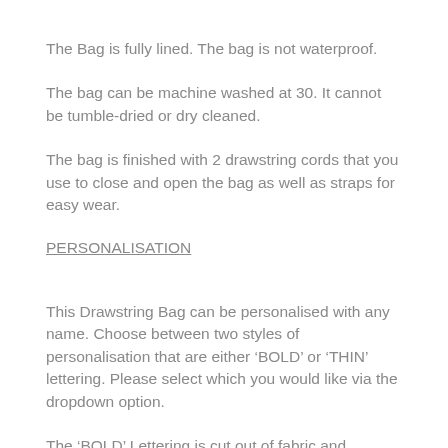The Bag is fully lined. The bag is not waterproof.
The bag can be machine washed at 30. It cannot be tumble-dried or dry cleaned.
The bag is finished with 2 drawstring cords that you use to close and open the bag as well as straps for easy wear.
PERSONALISATION
This Drawstring Bag can be personalised with any name. Choose between two styles of personalisation that are either ‘BOLD’ or ‘THIN’ lettering. Please select which you would like via the dropdown option.
The ‘BOLD’ Lettering is cut out of fabric and appliqued around which secures the name to the bag.
The ‘THIN’ Lettering is embroidered on to the bag in the